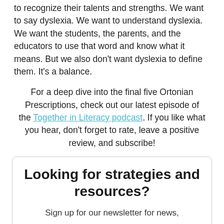to recognize their talents and strengths. We want to say dyslexia. We want to understand dyslexia. We want the students, the parents, and the educators to use that word and know what it means. But we also don't want dyslexia to define them. It's a balance.
For a deep dive into the final five Ortonian Prescriptions, check out our latest episode of the Together in Literacy podcast. If you like what you hear, don't forget to rate, leave a positive review, and subscribe!
Looking for strategies and resources?
Sign up for our newsletter for news,